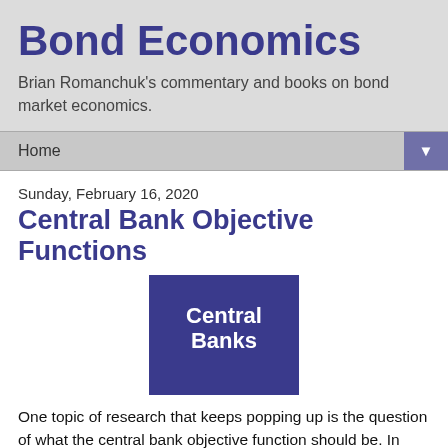Bond Economics
Brian Romanchuk's commentary and books on bond market economics.
Home ▼
Sunday, February 16, 2020
Central Bank Objective Functions
[Figure (illustration): Dark blue square button image with white bold text reading 'Central Banks']
One topic of research that keeps popping up is the question of what the central bank objective function should be. In simpler terms, what is the target of the central bank? (At present, most central banks have an inflation target, possibly with secondary objectives.) This is a preoccupation of many